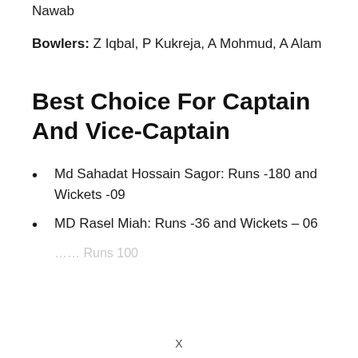Nawab
Bowlers: Z Iqbal, P Kukreja, A Mohmud, A Alam
Best Choice For Captain And Vice-Captain
Md Sahadat Hossain Sagor: Runs -180 and Wickets -09
MD Rasel Miah: Runs -36 and Wickets – 06
… Runs 100
X